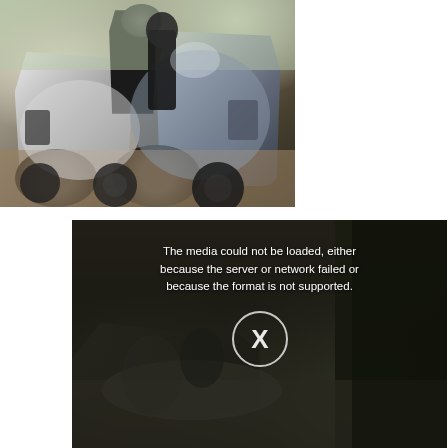[Figure (photo): Two motorcycles with a rider standing between them outdoors in a natural setting with trees and dirt ground. The left motorcycle is white/silver and the right is darker blue-grey. The rider wears dark gear and a helmet.]
[Figure (other): A video player showing an error message: 'The media could not be loaded, either because the server or network failed or because the format is not supported.' with an X button circle overlay on a dark background showing a blurry motorcycle rider.]